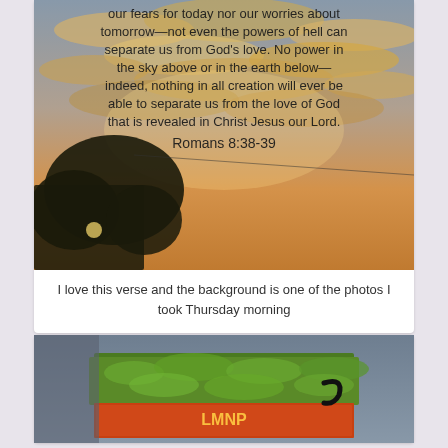[Figure (photo): Sunset sky with golden clouds and a tree silhouette, overlaid with Romans 8:38-39 Bible verse text]
I love this verse and the background is one of the photos I took Thursday morning
[Figure (photo): Building with green moss-covered roof and orange/red decorative signage, under a grey sky]